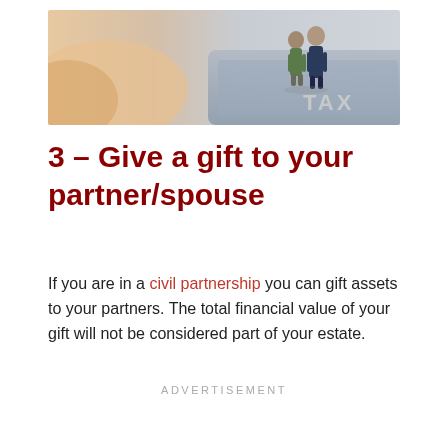[Figure (photo): A photograph of two miniature elderly couple figurines standing on what appears to be a tax document or calculator, with the word TAX visible in the background. The image has a soft focus with warm tones on the left side.]
3 – Give a gift to your partner/spouse
If you are in a civil partnership you can gift assets to your partners. The total financial value of your gift will not be considered part of your estate.
ADVERTISEMENT